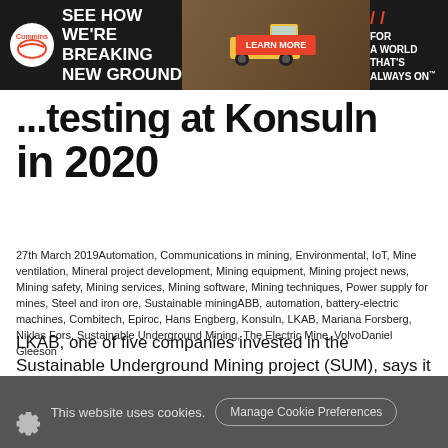[Figure (infographic): Cummins advertisement banner: 'SEE HOW WE'RE BREAKING NEW GROUND' with a mining truck image, LEARN MORE button, and 'FOR A WORLD THAT'S ALWAYS ON' tagline]
...testing at Konsuln in 2020
27th March 2019Automation, Communications in mining, Environmental, IoT, Mine ventilation, Mineral project development, Mining equipment, Mining project news, Mining safety, Mining services, Mining software, Mining techniques, Power supply for mines, Steel and iron ore, Sustainable miningABB, automation, battery-electric machines, Combitech, Epiroc, Hans Engberg, Konsuln, LKAB, Mariana Forsberg, Niklas Fors, Sustainable Underground Mining, The Electric Mine, VolvoDaniel Gleeson
LKAB, one of five companies invested in the Sustainable Underground Mining project (SUM), says it is hoping to move into test mode in 2020 with a number of projects aimed at making future mines carbon dioxide-free, digitalised and autonomous.
This website uses cookies. Manage Cookie Preferences